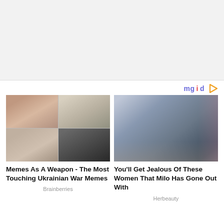[Figure (other): Top gray banner area]
[Figure (logo): mgid logo with play triangle icon]
[Figure (photo): Mosaic of 4 photos: Ukrainian war memes collage]
Memes As A Weapon - The Most Touching Ukrainian War Memes
Brainberries
[Figure (photo): Photo of smiling man (Milo) in crowd]
You'll Get Jealous Of These Women That Milo Has Gone Out With
Herbeauty